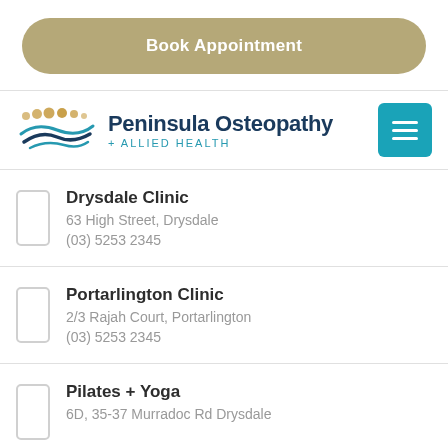Book Appointment
[Figure (logo): Peninsula Osteopathy + Allied Health logo with dots and hands graphic]
Drysdale Clinic
63 High Street, Drysdale
(03) 5253 2345
Portarlington Clinic
2/3 Rajah Court, Portarlington
(03) 5253 2345
Pilates + Yoga
6D, 35-37 Murradoc Rd Drysdale